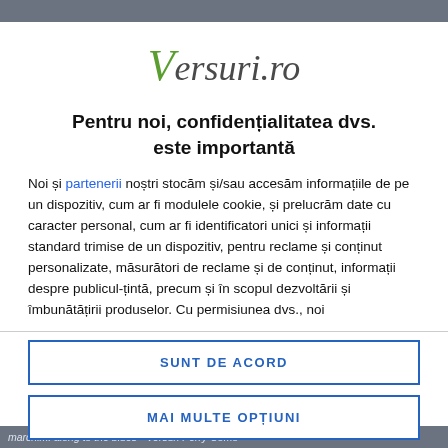[Figure (logo): Versuri.ro logo in italic serif font with green V and dark grey text]
Pentru noi, confidențialitatea dvs. este importantă
Noi și partenerii noștri stocăm și/sau accesăm informațiile de pe un dispozitiv, cum ar fi modulele cookie, și prelucrăm date cu caracter personal, cum ar fi identificatori unici și informații standard trimise de un dispozitiv, pentru reclame și conținut personalizate, măsurători de reclame și de conținut, informații despre publicul-țintă, precum și în scopul dezvoltării și îmbunătățirii produselor. Cu permisiunea dvs., noi
SUNT DE ACORD
MAI MULTE OPȚIUNI
marchim. along to the blues • Versuri Perry Como